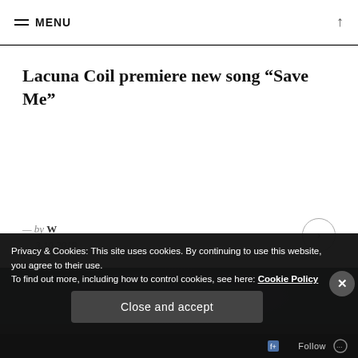≡ MENU
Lacuna Coil premiere new song “Save Me”
— by W
3.10.2019
[Figure (photo): Dark atmospheric background image showing cloudy night sky, dark blue and black tones]
Privacy & Cookies: This site uses cookies. By continuing to use this website, you agree to their use.
To find out more, including how to control cookies, see here: Cookie Policy
Close and accept
Follow